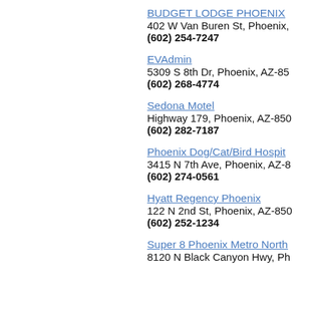BUDGET LODGE PHOENIX
402 W Van Buren St, Phoenix,
(602) 254-7247
EVAdmin
5309 S 8th Dr, Phoenix, AZ-85
(602) 268-4774
Sedona Motel
Highway 179, Phoenix, AZ-850
(602) 282-7187
Phoenix Dog/Cat/Bird Hospit
3415 N 7th Ave, Phoenix, AZ-8
(602) 274-0561
Hyatt Regency Phoenix
122 N 2nd St, Phoenix, AZ-850
(602) 252-1234
Super 8 Phoenix Metro North
8120 N Black Canyon Hwy, Ph